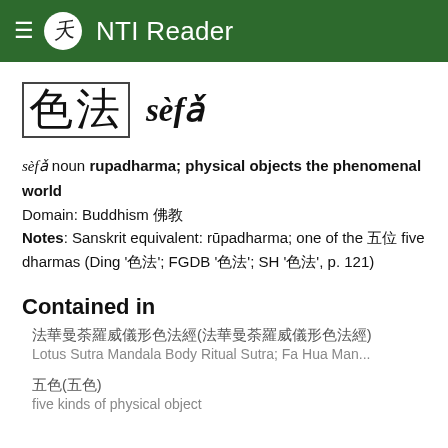NTI Reader
色法  sèfǎ
sèfǎ noun rupadharma; physical objects the phenomenal world
Domain: Buddhism 佛教
Notes: Sanskrit equivalent: rūpadharma; one of the 五位 five dharmas (Ding '色法'; FGDB '色法'; SH '色法', p. 121)
Contained in
法華曼荼羅威儀形色法經(法華曼荼羅威儀形色法經)
Lotus Sutra Mandala Body Ritual Sutra; Fa Hua Man...
五色(五色)
five kinds of physical object